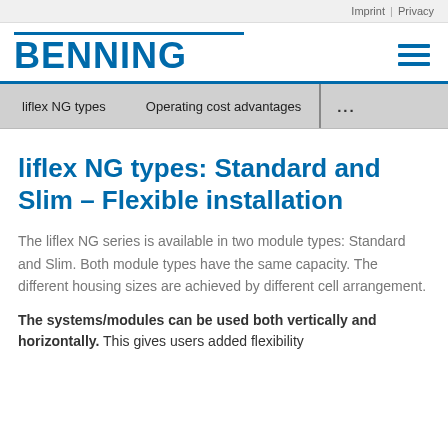Imprint | Privacy
[Figure (logo): BENNING company logo in blue with hamburger menu icon]
liflex NG types   Operating cost advantages   ...
liflex NG types: Standard and Slim – Flexible installation
The liflex NG series is available in two module types: Standard and Slim. Both module types have the same capacity. The different housing sizes are achieved by different cell arrangement.
The systems/modules can be used both vertically and horizontally. This gives users added flexibility